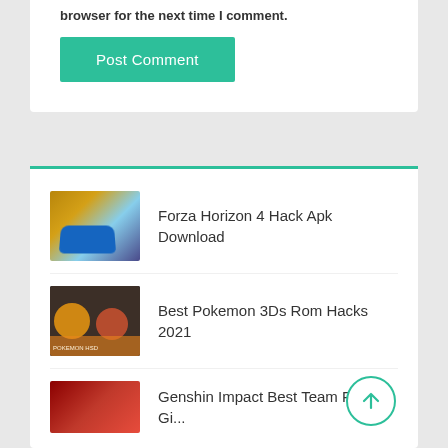browser for the next time I comment.
Post Comment
Forza Horizon 4 Hack Apk Download
Best Pokemon 3Ds Rom Hacks 2021
Genshin Impact Best Team For Gi...